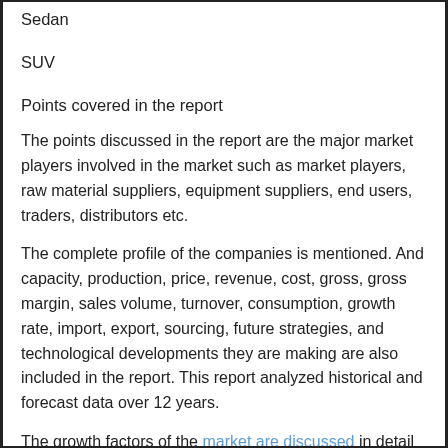Sedan
SUV
Points covered in the report
The points discussed in the report are the major market players involved in the market such as market players, raw material suppliers, equipment suppliers, end users, traders, distributors etc.
The complete profile of the companies is mentioned. And capacity, production, price, revenue, cost, gross, gross margin, sales volume, turnover, consumption, growth rate, import, export, sourcing, future strategies, and technological developments they are making are also included in the report. This report analyzed historical and forecast data over 12 years.
The growth factors of the market are discussed in detail in